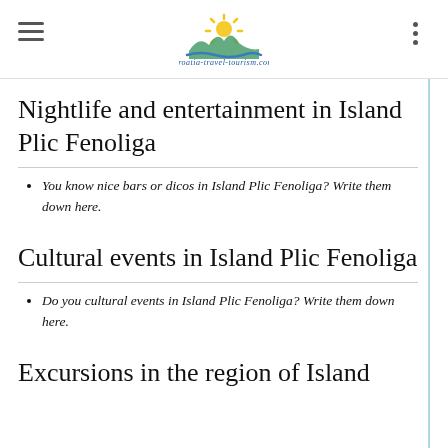croatia-travel-tourism.com logo with hamburger menu and dots menu
Nightlife and entertainment in Island Plic Fenoliga
You know nice bars or dicos in Island Plic Fenoliga? Write them down here.
Cultural events in Island Plic Fenoliga
Do you cultural events in Island Plic Fenoliga? Write them down here.
Excursions in the region of Island